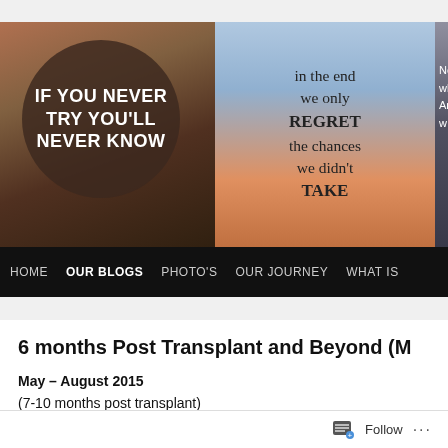[Figure (screenshot): Website header banner with three motivational quote images side by side, and a navigation bar with links: HOME, OUR BLOGS, PHOTO'S, OUR JOURNEY, WHAT IS. First image has a dark circle with text 'IF YOU NEVER TRY YOU'LL NEVER KNOW'. Second image shows 'in the end we only REGRET the chances we didn't TAKE'. Third is a partial dark image with partial text.]
6 months Post Transplant and Beyond (M
May – August 2015
(7-10 months post transplant)
Follow ...